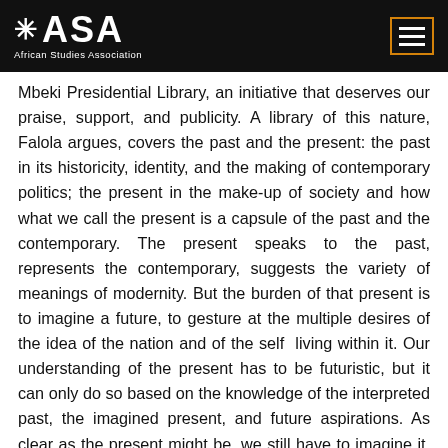ASA African Studies Association
Mbeki Presidential Library, an initiative that deserves our praise, support, and publicity. A library of this nature, Falola argues, covers the past and the present: the past in its historicity, identity, and the making of contemporary politics; the present in the make-up of society and how what we call the present is a capsule of the past and the contemporary. The present speaks to the past, represents the contemporary, suggests the variety of meanings of modernity. But the burden of that present is to imagine a future, to gesture at the multiple desires of the idea of the nation and of the self living within it. Our understanding of the present has to be futuristic, but it can only do so based on the knowledge of the interpreted past, the imagined present, and future aspirations. As clear as the present might be, we still have to imagine it, as it is an embodiment of multiple desire from one person to another, and that of a collective desire. Of